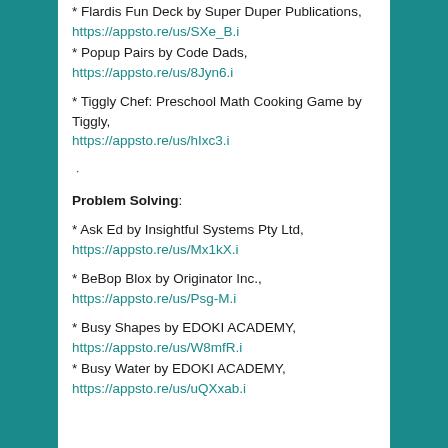* Flardis Fun Deck by Super Duper Publications, https://appsto.re/us/SXe_B.i
* Popup Pairs by Code Dads, https://appsto.re/us/8Jyn6.i
* Tiggly Chef: Preschool Math Cooking Game by Tiggly, https://appsto.re/us/hIxc3.i
.
Problem Solving:
* Ask Ed by Insightful Systems Pty Ltd, https://appsto.re/us/Mx1kX.i
* BeBop Blox by Originator Inc., https://appsto.re/us/Psg-M.i
* Busy Shapes by EDOKI ACADEMY, https://appsto.re/us/W8mfR.i
* Busy Water by EDOKI ACADEMY, https://appsto.re/us/uQXxab.i